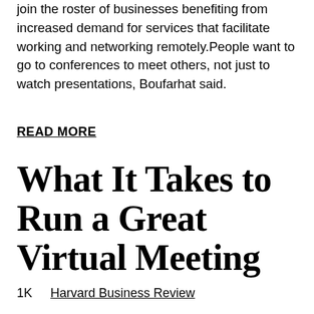join the roster of businesses benefiting from increased demand for services that facilitate working and networking remotely.People want to go to conferences to meet others, not just to watch presentations, Boufarhat said.
READ MORE
What It Takes to Run a Great Virtual Meeting
1K    Harvard Business Review